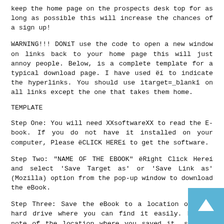keep the home page on the prospects desk top for as long as possible this will increase the chances of a sign up!
WARNING!!! DONíT use the code to open a new window on links back to your home page this will just annoy people. Below, is a complete template for a typical download page. I have used ëí to indicate the hyperlinks. You should use ìtarget=_blankî on all links except the one that takes them home.
TEMPLATE
Step One: You will need XXsoftwareXX to read the E-book. If you do not have it installed on your computer, Please ëCLICK HEREí to get the software.
Step Two: "NAME OF THE EBOOK" ëRight Click Hereí and select 'Save Target as' or 'Save Link as' (Mozilla) option from the pop-up window to download the eBook.
Step Three: Save the eBook to a location on your hard drive where you can find it easily. Make a note of the location where you saved it, so that you can easily access it again in